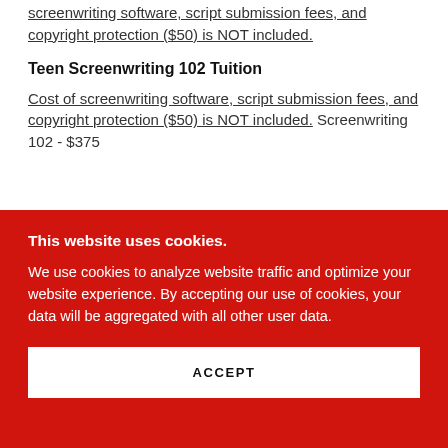screenwriting software, script submission fees, and copyright protection ($50) is NOT included.
Teen Screenwriting 102 Tuition
Cost of screenwriting software, script submission fees, and copyright protection ($50) is NOT included. Screenwriting 102 - $375
This website uses cookies.
We use cookies to analyze website traffic and optimize your website experience. By accepting our use of cookies, your data will be aggregated with all other user data.
ACCEPT